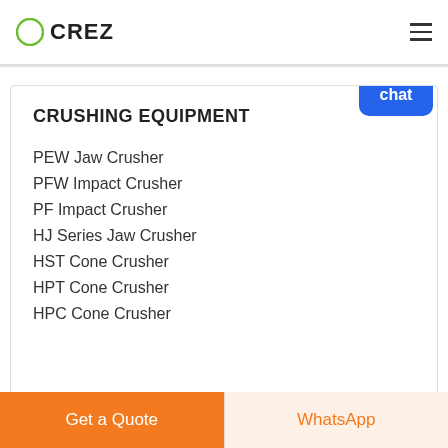CREZ
CRUSHING EQUIPMENT
PEW Jaw Crusher
PFW Impact Crusher
PF Impact Crusher
HJ Series Jaw Crusher
HST Cone Crusher
HPT Cone Crusher
HPC Cone Crusher